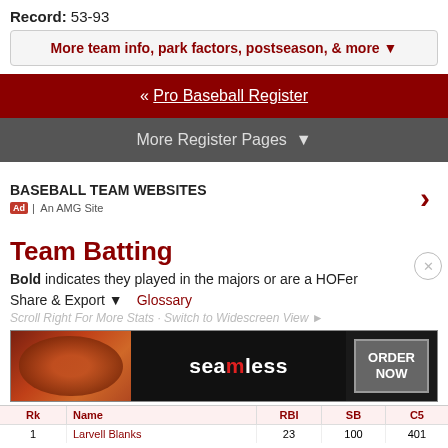Record: 53-93
More team info, park factors, postseason, & more ▼
« Pro Baseball Register
More Register Pages ▼
[Figure (infographic): Ad block: BASEBALL TEAM WEBSITES with arrow, Ad badge and An AMG Site label]
Team Batting
Bold indicates they played in the majors or are a HOFer
Share & Export ▼   Glossary
Scroll Right For More Stats · Switch to Widescreen View ►
[Figure (infographic): Seamless food delivery advertisement banner with ORDER NOW button]
| Rk | Name | RBI | SB | C5 |
| --- | --- | --- | --- | --- |
| 1 | Larvell Blanks | 23 | 100 | 401 | 366 | 45 | 91 | 21 | 1 | 6 | 35 | 10 |